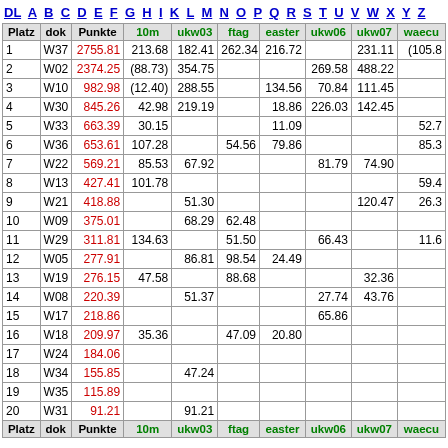DL A B C D E F G H I K L M N O P Q R S T U V W X Y Z
| Platz | dok | Punkte | 10m | ukw03 | ftag | easter | ukw06 | ukw07 | waecu |
| --- | --- | --- | --- | --- | --- | --- | --- | --- | --- |
| 1 | W37 | 2755.81 | 213.68 | 182.41 | 262.34 | 216.72 |  | 231.11 | (105.8 |
| 2 | W02 | 2374.25 | (88.73) | 354.75 |  |  | 269.58 | 488.22 |  |
| 3 | W10 | 982.98 | (12.40) | 288.55 |  | 134.56 | 70.84 | 111.45 |  |
| 4 | W30 | 845.26 | 42.98 | 219.19 |  | 18.86 | 226.03 | 142.45 |  |
| 5 | W33 | 663.39 | 30.15 |  |  | 11.09 |  |  | 52.7 |
| 6 | W36 | 653.61 | 107.28 |  | 54.56 | 79.86 |  |  | 85.3 |
| 7 | W22 | 569.21 | 85.53 | 67.92 |  |  | 81.79 | 74.90 |  |
| 8 | W13 | 427.41 | 101.78 |  |  |  |  |  | 59.4 |
| 9 | W21 | 418.88 |  | 51.30 |  |  |  | 120.47 | 26.3 |
| 10 | W09 | 375.01 |  | 68.29 | 62.48 |  |  |  |  |
| 11 | W29 | 311.81 | 134.63 |  | 51.50 |  | 66.43 |  | 11.6 |
| 12 | W05 | 277.91 |  | 86.81 | 98.54 | 24.49 |  |  |  |
| 13 | W19 | 276.15 | 47.58 |  | 88.68 |  |  | 32.36 |  |
| 14 | W08 | 220.39 |  | 51.37 |  |  | 27.74 | 43.76 |  |
| 15 | W17 | 218.86 |  |  |  |  | 65.86 |  |  |
| 16 | W18 | 209.97 | 35.36 |  | 47.09 | 20.80 |  |  |  |
| 17 | W24 | 184.06 |  |  |  |  |  |  |  |
| 18 | W34 | 155.85 |  | 47.24 |  |  |  |  |  |
| 19 | W35 | 115.89 |  |  |  |  |  |  |  |
| 20 | W31 | 91.21 |  | 91.21 |  |  |  |  |  |